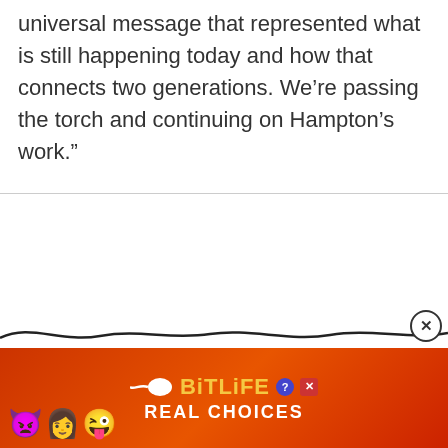universal message that represented what is still happening today and how that connects two generations. We’re passing the torch and continuing on Hampton’s work.”
[Figure (other): Advertisement placeholder area with 'Ad' label button, wave decoration, close button (X), and a BitLife app advertisement banner at the bottom showing emoji characters, BitLife logo with question and X badges, and text 'REAL CHOICES']